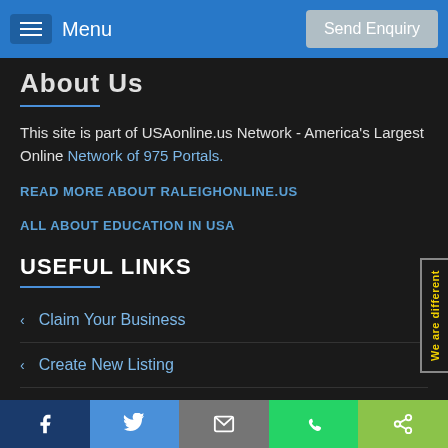Menu | Send Enquiry
About Us
This site is part of USAonline.us Network - America's Largest Online Network of 975 Portals.
READ MORE ABOUT RALEIGHONLINE.US
ALL ABOUT EDUCATION IN USA
USEFUL LINKS
Claim Your Business
Create New Listing
Our Services
Facebook | Twitter | Email | WhatsApp | Share